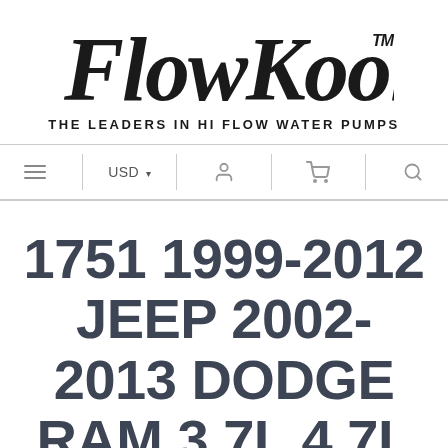[Figure (logo): FlowKooler logo in italic script font with TM mark, tagline 'THE LEADERS IN HI FLOW WATER PUMPS']
≡  USD ▾  👤  🛒  🔍
1751 1999-2012 JEEP 2002-2013 DODGE RAM 3.7L 4.7L WATER